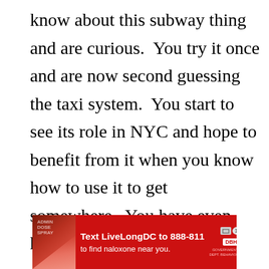know about this subway thing and are curious. You try it once and are now second guessing the taxi system. You start to see its role in NYC and hope to benefit from it when you know how to use it to get somewhere. You have even heard of people who now only use the subway. Scary.

As you travel through the subway system you leave your borough or city and take a
[Figure (infographic): Advertisement banner: red background with image of arm holding naloxone. Text reads 'Text LiveLongDC to 888-811 to find naloxone near you.' with DBH logo.]